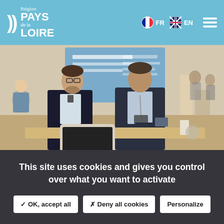Région Pays de la Loire — FR EN navigation header
[Figure (photo): Two men in suits standing behind a table with a tablet, at what appears to be a conference or trade show event]
This site uses cookies and gives you control over what you want to activate
✓ OK, accept all   ✗ Deny all cookies   Personalize